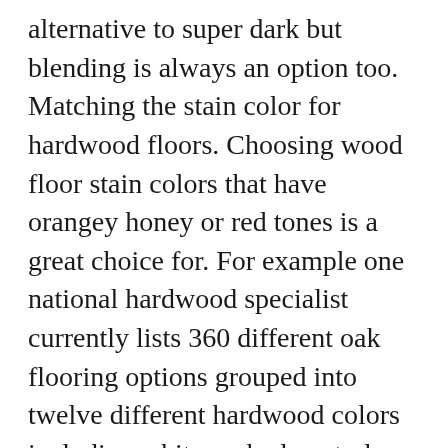alternative to super dark but blending is always an option too. Matching the stain color for hardwood floors. Choosing wood floor stain colors that have orangey honey or red tones is a great choice for. For example one national hardwood specialist currently lists 360 different oak flooring options grouped into twelve different hardwood colors including whitewashed neutrals honey tones reds lots of different browns and even two very dark brown almost black stained floors. We use stains from Bona Dura seal and Min...